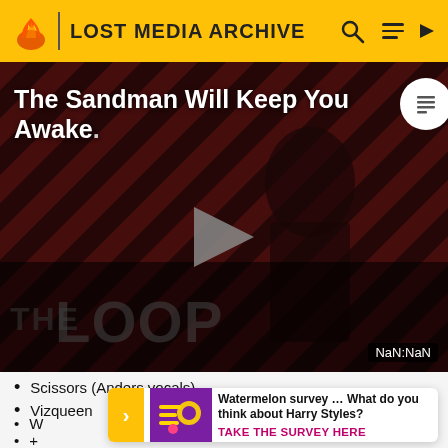LOST MEDIA ARCHIVE
[Figure (screenshot): Video thumbnail for 'The Sandman Will Keep You Awake' showing a dark-clad figure against a diagonal striped red/dark background. Large play button in center. 'THE LOOP' text overlay at bottom. Timestamp showing NaN:NaN in lower right.]
Scissors (Anders vocals)
Vizqueen
W
W
+
Watermelon survey … What do you think about Harry Styles? TAKE THE SURVEY HERE